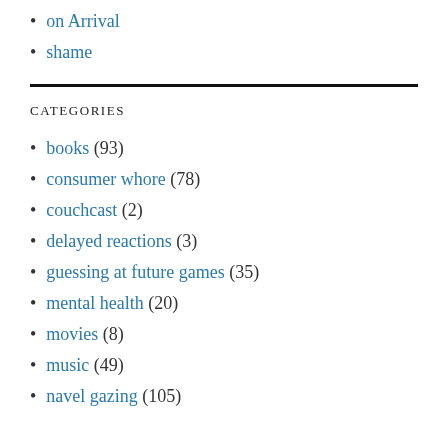on Arrival
shame
CATEGORIES
books (93)
consumer whore (78)
couchcast (2)
delayed reactions (3)
guessing at future games (35)
mental health (20)
movies (8)
music (49)
navel gazing (105)